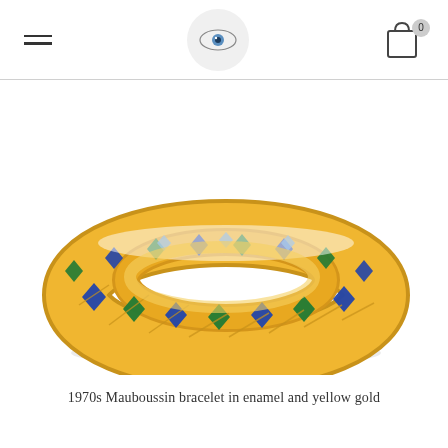Navigation header with hamburger menu, eye logo, and shopping cart
[Figure (photo): A 1970s Mauboussin bangle bracelet in yellow gold with multicolored harlequin enamel pattern featuring blue, green, and yellow diamond-shaped enamel inlays set in a gold lattice framework.]
1970s Mauboussin bracelet in enamel and yellow gold